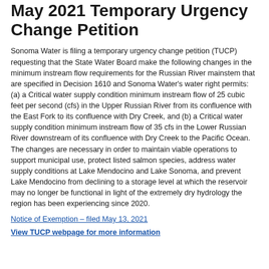May 2021 Temporary Urgency Change Petition
Sonoma Water is filing a temporary urgency change petition (TUCP) requesting that the State Water Board make the following changes in the minimum instream flow requirements for the Russian River mainstem that are specified in Decision 1610 and Sonoma Water's water right permits: (a) a Critical water supply condition minimum instream flow of 25 cubic feet per second (cfs) in the Upper Russian River from its confluence with the East Fork to its confluence with Dry Creek, and (b) a Critical water supply condition minimum instream flow of 35 cfs in the Lower Russian River downstream of its confluence with Dry Creek to the Pacific Ocean. The changes are necessary in order to maintain viable operations to support municipal use, protect listed salmon species, address water supply conditions at Lake Mendocino and Lake Sonoma, and prevent Lake Mendocino from declining to a storage level at which the reservoir may no longer be functional in light of the extremely dry hydrology the region has been experiencing since 2020.
Notice of Exemption – filed May 13, 2021
View TUCP webpage for more information